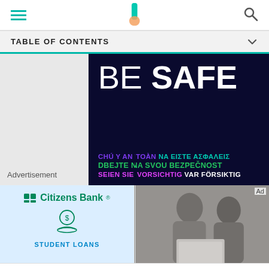Navigation bar with hamburger menu, logo, and search icon
TABLE OF CONTENTS
[Figure (infographic): BE SAFE banner in dark navy with large white text reading 'BE SAFE' and multilingual safety phrases below in purple, teal, green, pink, and white: 'CHÚ Y AN TOÀN', 'NA ΕΙΣΤΕ ΑΣΦΑΛΕΙΣ', 'DBEJTE NA SVOU BEZPEČNOST', 'SEIEN SIE VORSICHTIG', 'VAR FÖRSIKTIG']
Advertisement
[Figure (photo): Citizens Bank advertisement with logo, coin/hand icon, and text 'STUDENT LOANS']
[Figure (photo): Photo of two people (man and woman) looking at a laptop, with 'Ad' label in corner]
[Figure (infographic): Verizon advertisement: verizon logo with checkmark, text 'Get a great deal on our best phones.' with Verizon play icon]